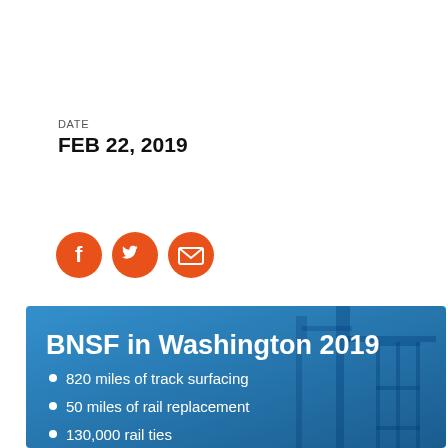DATE
FEB 22, 2019
[Figure (infographic): Social media icon buttons: Facebook, Twitter, Email — orange circles with white icons]
[Figure (infographic): BNSF in Washington 2019 infographic on blue background with crane silhouette. Bullet points: 820 miles of track surfacing, 50 miles of rail replacement, 130,000 rail ties]